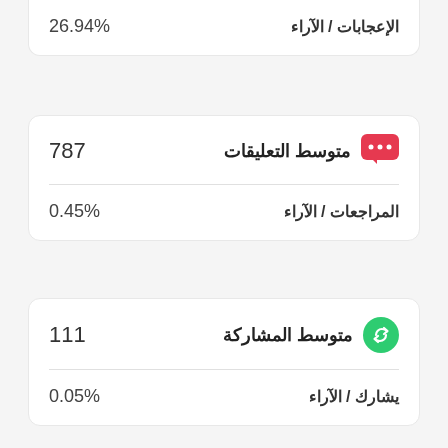الإعجابات / الآراء 26.94%
متوسط التعليقات 787
المراجعات / الآراء 0.45%
متوسط المشاركة 111
يشارك / الآراء 0.05%